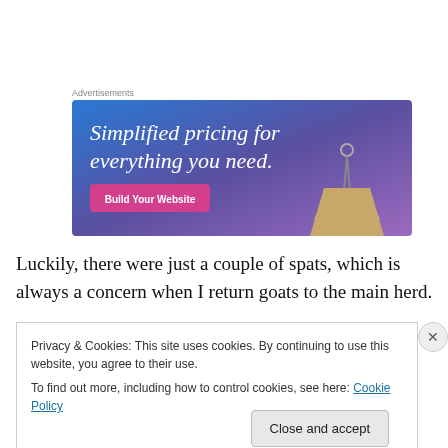Advertisements
[Figure (illustration): Advertisement banner with blue-to-purple gradient background, white text reading 'Simplified pricing for everything you need.' with a pink 'Build Your Website' button and a price tag illustration on the right.]
Luckily, there were just a couple of spats, which is always a concern when I return goats to the main herd.
Privacy & Cookies: This site uses cookies. By continuing to use this website, you agree to their use.
To find out more, including how to control cookies, see here: Cookie Policy
Close and accept